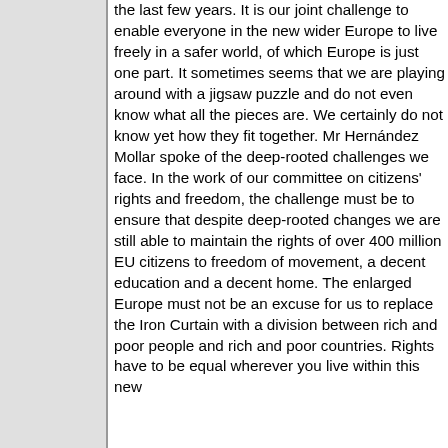the last few years. It is our joint challenge to enable everyone in the new wider Europe to live freely in a safer world, of which Europe is just one part. It sometimes seems that we are playing around with a jigsaw puzzle and do not even know what all the pieces are. We certainly do not know yet how they fit together. Mr Hernández Mollar spoke of the deep-rooted challenges we face. In the work of our committee on citizens' rights and freedom, the challenge must be to ensure that despite deep-rooted changes we are still able to maintain the rights of over 400 million EU citizens to freedom of movement, a decent education and a decent home. The enlarged Europe must not be an excuse for us to replace the Iron Curtain with a division between rich and poor people and rich and poor countries. Rights have to be equal wherever you live within this new Europe and must not be a question of